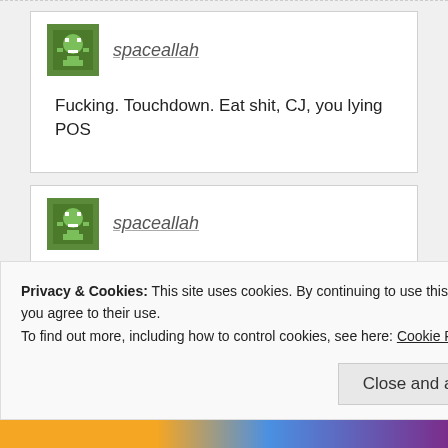spaceallah
Fucking. Touchdown. Eat shit, CJ, you lying POS
spaceallah
Very nice job everyone. I verified the source on the live site which w
Privacy & Cookies: This site uses cookies. By continuing to use this website, you agree to their use.
To find out more, including how to control cookies, see here: Cookie Policy
Close and accept